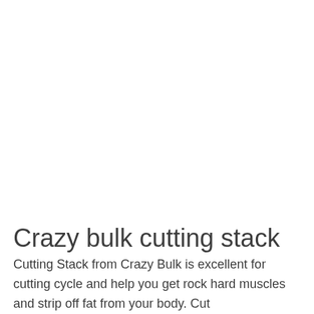Crazy bulk cutting stack
Cutting Stack from Crazy Bulk is excellent for cutting cycle and help you get rock hard muscles and strip off fat from your body. Cut